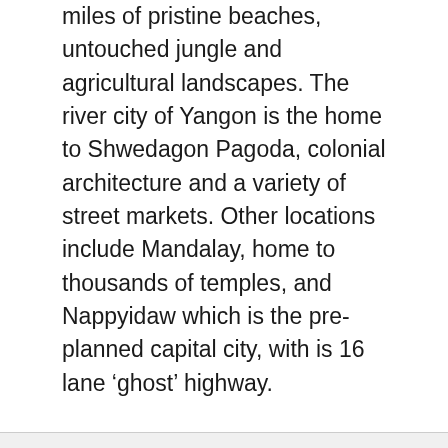miles of pristine beaches, untouched jungle and agricultural landscapes. The river city of Yangon is the home to Shwedagon Pagoda, colonial architecture and a variety of street markets. Other locations include Mandalay, home to thousands of temples, and Nappyidaw which is the pre-planned capital city, with is 16 lane ‘ghost’ highway.
Our Footprint
Asia Film fixers have been providing production support in Myanmar since the country opened up for international filming in 2012. We have two offices located in Yangon and Mandalay. Our expatriate management team bring a wealth of international knowledge which they impart to our Burmese fixers